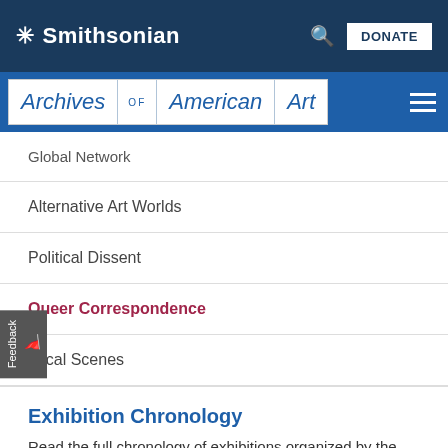Smithsonian
Archives of American Art
Global Network
Alternative Art Worlds
Political Dissent
Queer Correspondence
Local Scenes
Exhibition Chronology
Read the full chronology of exhibitions organized by the Archives of American Art.
[Figure (photo): Bottom image strip showing a partial photograph]